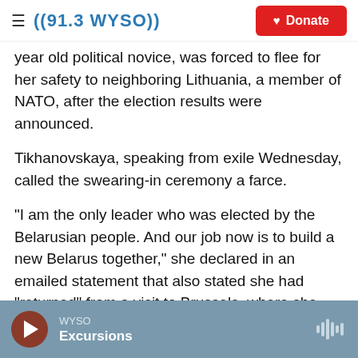((91.3 WYSO)) | Donate
year old political novice, was forced to flee for her safety to neighboring Lithuania, a member of NATO, after the election results were announced.
Tikhanovskaya, speaking from exile Wednesday, called the swearing-in ceremony a farce.
"I am the only leader who was elected by the Belarusian people. And our job now is to build a new Belarus together," she declared in an emailed statement that also stated she had "returned" from a visit to Brussels, where she met with European Union foreign ministers on Monday.
WYSO | Excursions